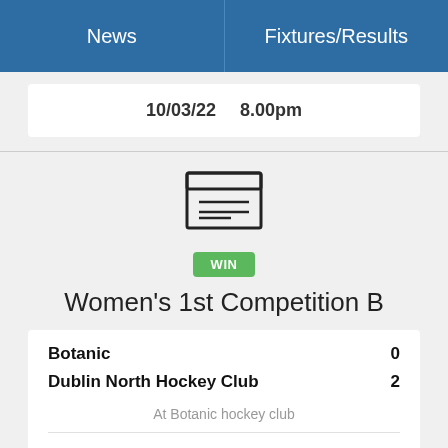News    Fixtures/Results
10/03/22    8.00pm
[Figure (illustration): Document/article icon showing a rectangle with horizontal lines inside representing text]
WIN
Women's 1st Competition B
| Team | Score |
| --- | --- |
| Botanic | 0 |
| Dublin North Hockey Club | 2 |
At Botanic hockey club
02/03/22    8.30pm